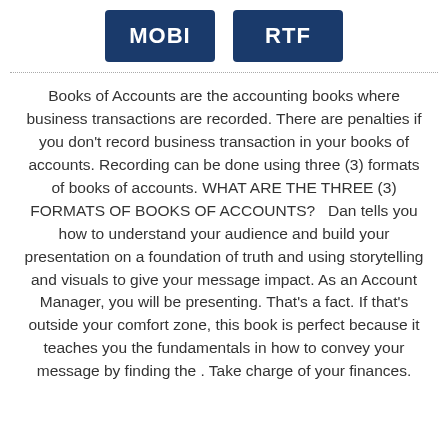[Figure (other): Two dark blue buttons labeled MOBI and RTF]
Books of Accounts are the accounting books where business transactions are recorded. There are penalties if you don't record business transaction in your books of accounts. Recording can be done using three (3) formats of books of accounts. WHAT ARE THE THREE (3) FORMATS OF BOOKS OF ACCOUNTS?   Dan tells you how to understand your audience and build your presentation on a foundation of truth and using storytelling and visuals to give your message impact. As an Account Manager, you will be presenting. That's a fact. If that's outside your comfort zone, this book is perfect because it teaches you the fundamentals in how to convey your message by finding the . Take charge of your finances.